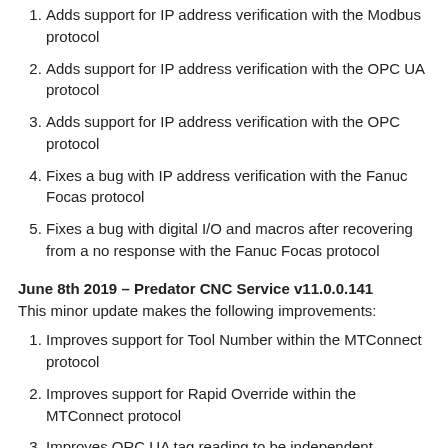Adds support for IP address verification with the Modbus protocol
Adds support for IP address verification with the OPC UA protocol
Adds support for IP address verification with the OPC protocol
Fixes a bug with IP address verification with the Fanuc Focas protocol
Fixes a bug with digital I/O and macros after recovering from a no response with the Fanuc Focas protocol
June 8th 2019 – Predator CNC Service v11.0.0.141
This minor update makes the following improvements:
Improves support for Tool Number within the MTConnect protocol
Improves support for Rapid Override within the MTConnect protocol
Improves ORC UA tag reading to be independent